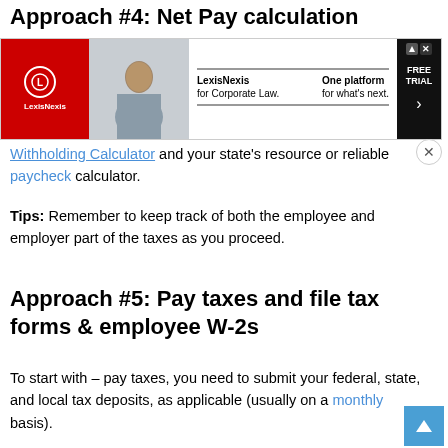Approach #4: Net Pay calculation
[Figure (photo): LexisNexis advertisement banner with red logo section, photo of woman at laptop, and text 'LexisNexis for Corporate Law. One platform for what's next.' with FREE TRIAL button]
Withholding Calculator and your state's resource or reliable paycheck calculator.
Tips: Remember to keep track of both the employee and employer part of the taxes as you proceed.
Approach #5: Pay taxes and file tax forms & employee W-2s
To start with – pay taxes, you need to submit your federal, state, and local tax deposits, as applicable (usually on a monthly basis).